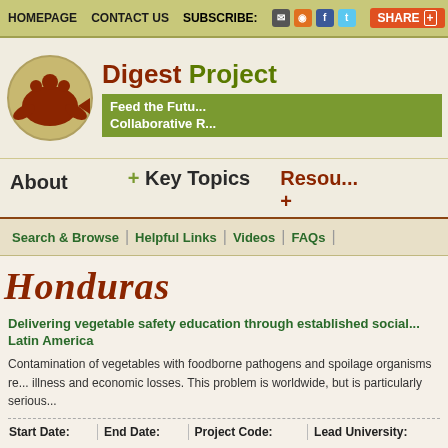HOMEPAGE   CONTACT US   SUBSCRIBE:   SHARE
[Figure (logo): Digest Project logo - circular emblem with brown figures and fish on tan/beige background]
Digest Project - Feed the Future Collaborative R...
About   + Key Topics   Resou... +
Search & Browse  |  Helpful Links  |  Videos  |  FAQs  |
Honduras
Delivering vegetable safety education through established social... Latin America
Contamination of vegetables with foodborne pathogens and spoilage organisms re... illness and economic losses. This problem is worldwide, but is particularly serious...
| Start Date: | End Date: | Project Code: | Lead University: |
| --- | --- | --- | --- |